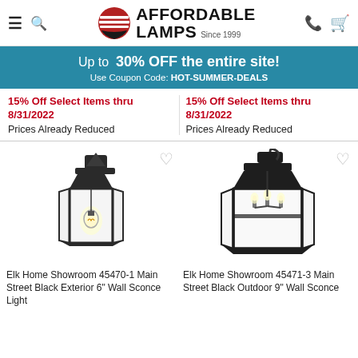AFFORDABLE LAMPS Since 1999
Up to 30% OFF the entire site! Use Coupon Code: HOT-SUMMER-DEALS
15% Off Select Items thru 8/31/2022
Prices Already Reduced
15% Off Select Items thru 8/31/2022
Prices Already Reduced
[Figure (photo): Elk Home Showroom 45470-1 Main Street Black Exterior 6" Wall Sconce Light - black lantern-style outdoor wall sconce with clear glass panels and single Edison bulb]
Elk Home Showroom 45470-1 Main Street Black Exterior 6" Wall Sconce Light
[Figure (photo): Elk Home Showroom 45471-3 Main Street Black Outdoor 9" Wall Sconce - larger black lantern-style outdoor wall sconce with clear glass panels and multiple candelabra bulbs]
Elk Home Showroom 45471-3 Main Street Black Outdoor 9" Wall Sconce